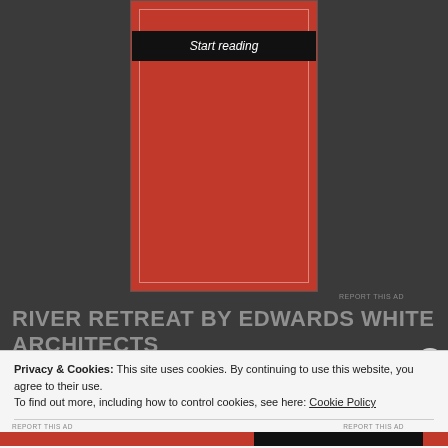[Figure (illustration): Red book cover with a white inner border and a black 'Start reading' button at the top center]
REPORT THIS AD
RIVER RETREAT BY EDWARDS WHITE ARCHITECTS
Privacy & Cookies: This site uses cookies. By continuing to use this website, you agree to their use.
To find out more, including how to control cookies, see here: Cookie Policy
Close and accept